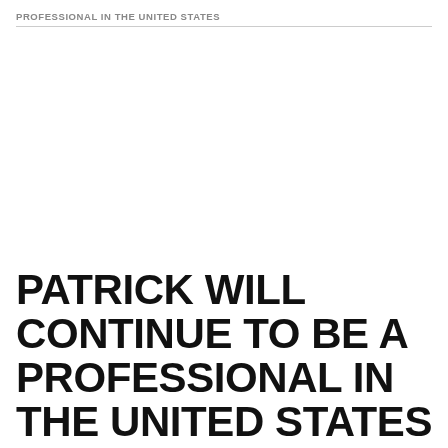PROFESSIONAL IN THE UNITED STATES
TOP NEWS
PATRICK WILL CONTINUE TO BE A PROFESSIONAL IN THE UNITED STATES